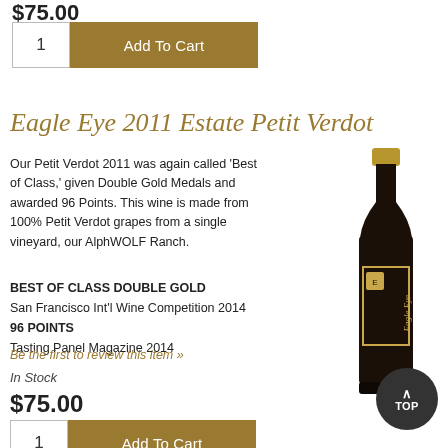$75.00
1  Add To Cart
Eagle Eye 2011 Estate Petit Verdot
Our Petit Verdot 2011 was again called 'Best of Class,' given Double Gold Medals and awarded 96 Points. This wine is made from 100% Petit Verdot grapes from a single vineyard, our AlphWOLF Ranch.
BEST OF CLASS DOUBLE GOLD
San Francisco Int'l Wine Competition 2014
96 POINTS
Tasting Panel Magazine 2014
[Figure (photo): Dark wine bottle with gold cap labeled Eagle Eye]
Be the first to review this item »
In Stock
$75.00
1  Add To Cart